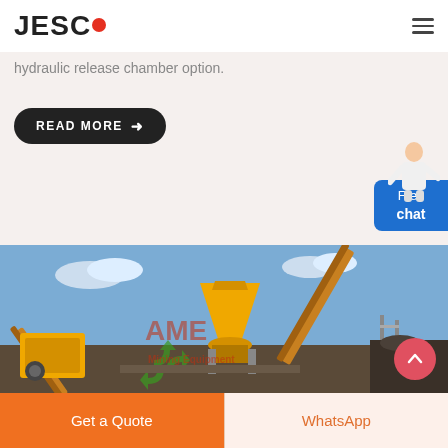JESCO
hydraulic release chamber option.
READ MORE →
[Figure (photo): Outdoor industrial mining/crushing plant with yellow cone crusher and conveyor belts against blue sky. Watermark: AME Mining Equipment with green recycling logo.]
Free chat
Get a Quote
WhatsApp